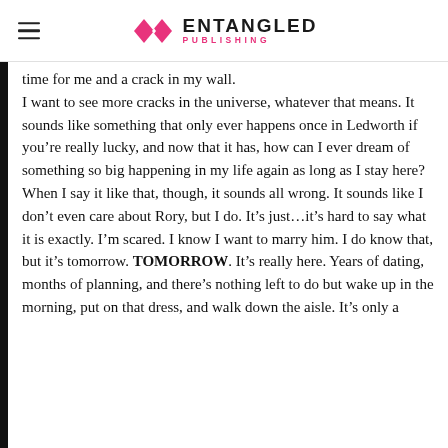Entangled Publishing
time for me and a crack in my wall.
I want to see more cracks in the universe, whatever that means. It sounds like something that only ever happens once in Ledworth if you’re really lucky, and now that it has, how can I ever dream of something so big happening in my life again as long as I stay here?When I say it like that, though, it sounds all wrong. It sounds like I don’t even care about Rory, but I do. It’s just…it’s hard to say what it is exactly. I’m scared. I know I want to marry him. I do know that, but it’s tomorrow. TOMORROW. It’s really here. Years of dating, months of planning, and there’s nothing left to do but wake up in the morning, put on that dress, and walk down the aisle. It’s only a